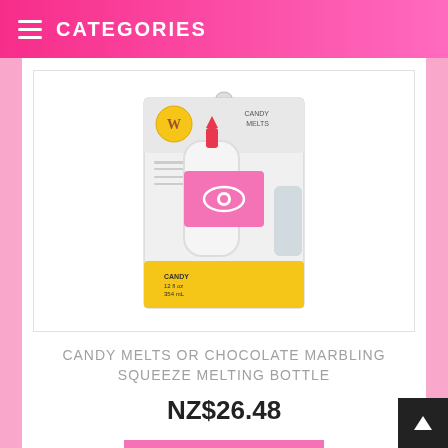CATEGORIES
[Figure (photo): Product photo of Wilton Candy Melts Squeeze Melting Bottle with pink eye-icon overlay in the center, shown in retail packaging with yellow base and Candy Melts branding.]
CANDY MELTS OR CHOCOLATE MARBLING SQUEEZE MELTING BOTTLE
NZ$26.48
VIEW DETAIL